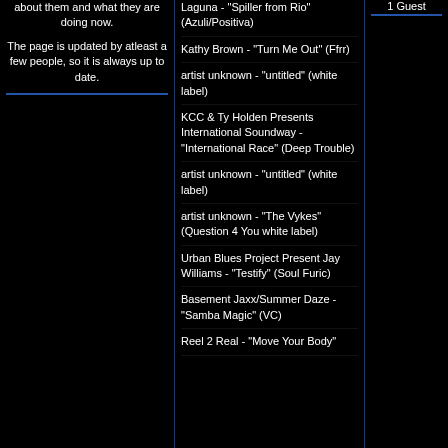about them and what they are doing now.
The page is updated by atleast a few people, so it is always up to date.
Laguna - "Spiller from Rio" (Azuli/Positiva)
Kathy Brown - "Turn Me Out" (Ffrr)
artist unknown - "untitled" (white label)
KCC & Ty Holden Presents International Soundway - "International Race" (Deep Trouble)
artist unknown - "untitled" (white label)
artist unknown - "The Vykes" (Question 4 You white label)
Urban Blues Project Present Jay Williams - "Testify" (Soul Furic)
Basement Jaxx/Summer Daze - "Samba Magic" (VC)
Reel 2 Real - "Move Your Body"
1 Guest